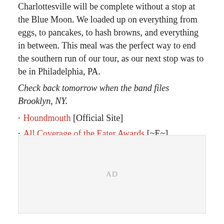Charlottesville will be complete without a stop at the Blue Moon. We loaded up on everything from eggs, to pancakes, to hash browns, and everything in between. This meal was the perfect way to end the southern run of our tour, as our next stop was to be in Philadelphia, PA.
Check back tomorrow when the band files Brooklyn, NY.
Houndmouth [Official Site]
All Coverage of the Eater Awards [~E~]
[Figure (other): Advertisement placeholder box with 'AD' label]